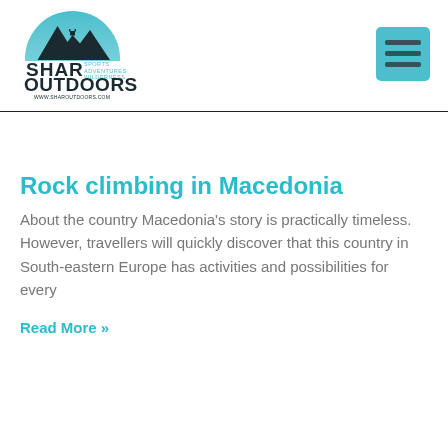[Figure (logo): Shar Outdoors logo — mountain silhouette with semicircle sky in teal/blue, text 'SHAR OUTDOORS SPORTS ADVENTURES WILDERNESS www.sharoutdoors.com']
[Figure (other): Hamburger menu button — teal square with three horizontal dark lines]
Rock climbing in Macedonia
About the country Macedonia's story is practically timeless. However, travellers will quickly discover that this country in South-eastern Europe has activities and possibilities for every
Read More »